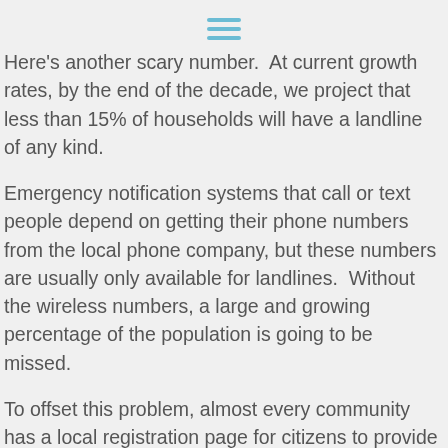[hamburger menu icon]
Here's another scary number.  At current growth rates, by the end of the decade, we project that less than 15% of households will have a landline of any kind.
Emergency notification systems that call or text people depend on getting their phone numbers from the local phone company, but these numbers are usually only available for landlines.  Without the wireless numbers, a large and growing percentage of the population is going to be missed.
To offset this problem, almost every community has a local registration page for citizens to provide their numbers.  But these pages – and the marketing campaigns that promote them –